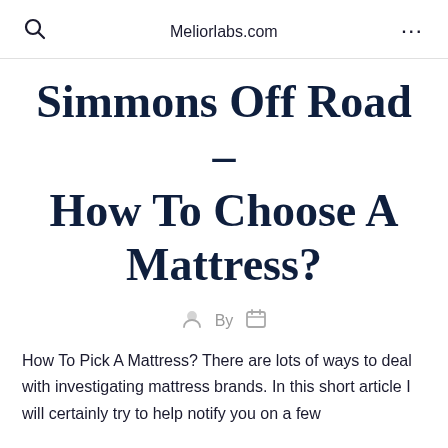Meliorlabs.com
Simmons Off Road – How To Choose A Mattress?
By
How To Pick A Mattress? There are lots of ways to deal with investigating mattress brands. In this short article I will certainly try to help notify you on a few